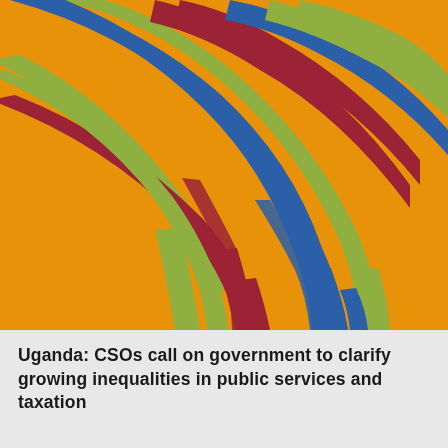[Figure (illustration): Abstract decorative illustration on orange/golden background featuring four intertwining curved ribbon/branch shapes in dark red/crimson, olive green, cobalt blue, and dark red colors, forming Y-shaped tree-like forms that branch and weave across the image.]
Uganda: CSOs call on government to clarify growing inequalities in public services and taxation